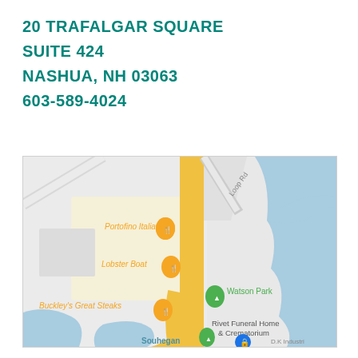20 TRAFALGAR SQUARE
SUITE 424
NASHUA, NH 03063
603-589-4024
[Figure (map): Google Maps screenshot showing area near 20 Trafalgar Square, Nashua NH, with landmarks including Portofino Italian, Lobster Boat, Watson Park, Buckley's Great Steaks, Rivet Funeral Home & Crematorium, and Souhegan visible. A vertical road runs through the center with blue water features on the right side.]